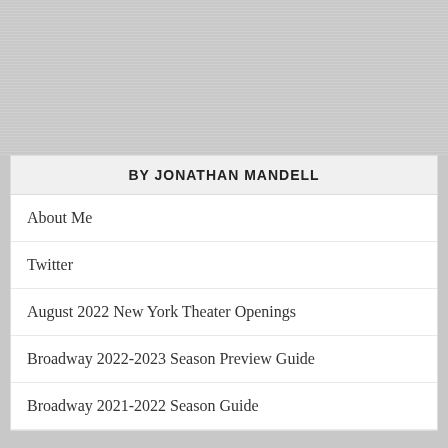[Figure (other): Textured gray background at top]
BY JONATHAN MANDELL
About Me
Twitter
August 2022 New York Theater Openings
Broadway 2022-2023 Season Preview Guide
Broadway 2021-2022 Season Guide
SUBSCRIBE TO BLOG VIA EMAIL
Enter your email address to subscribe to this blog and receive
Advertisements
[Figure (photo): MAC cosmetics advertisement showing lipsticks and MAC logo with SHOP NOW button]